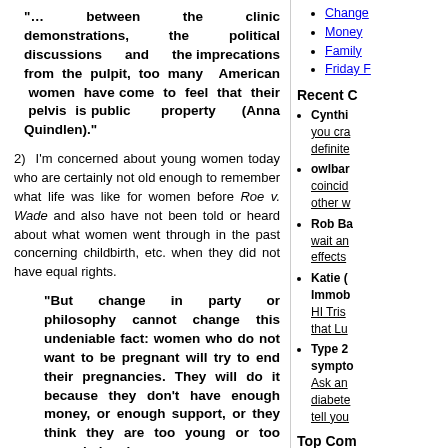“… between the clinic demonstrations, the political discussions and the imprecations from the pulpit, too many American women have come to feel that their pelvis is public property (Anna Quindlen).”
2) I’m concerned about young women today who are certainly not old enough to remember what life was like for women before Roe v. Wade and also have not been told or heard about what women went through in the past concerning childbirth, etc. when they did not have equal rights.
“But change in party or philosophy cannot change this undeniable fact: women who do not want to be pregnant will try to end their pregnancies. They will do it because they don’t have enough money, or enough support, or they think they are too young or too overwhelmed
Change
Money
Family
Friday F
Recent C
Cynthi... you cra... definite...
owlbar... coincid... other w...
Rob Ba... wait an... effects...
Katie (... Immob... HI Tris... that Lu...
Type 2... sympto... Ask an... diabete... tell you...
Top Com